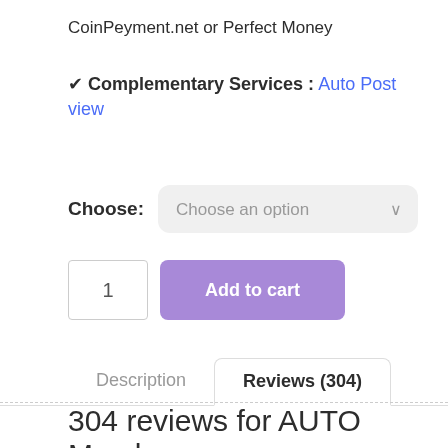CoinPeyment.net or Perfect Money
✔ Complementary Services : Auto Post view
Choose: [Choose an option dropdown]
1  Add to cart
Description   Reviews (304)
304 reviews for AUTO Member